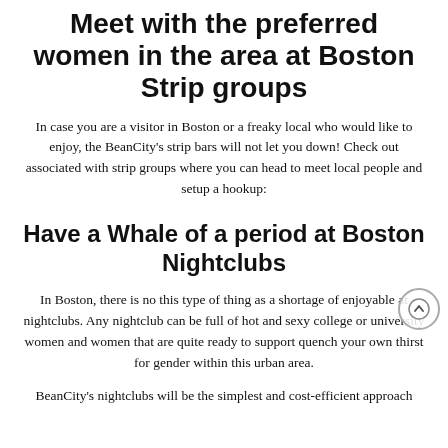Meet with the preferred women in the area at Boston Strip groups
In case you are a visitor in Boston or a freaky local who would like to enjoy, the BeanCity's strip bars will not let you down! Check out associated with strip groups where you can head to meet local people and setup a hookup:
Have a Whale of a period at Boston Nightclubs
In Boston, there is no this type of thing as a shortage of enjoyable at nightclubs. Any nightclub can be full of hot and sexy college or university women and women that are quite ready to support quench your own thirst for gender within this urban area.
BeanCity's nightclubs will be the simplest and cost-efficient approach